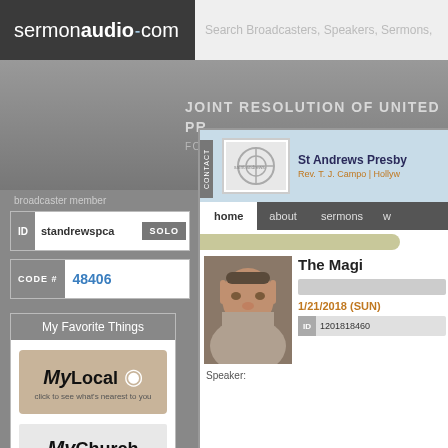[Figure (screenshot): SermonAudio.com website header with logo and search bar]
[Figure (screenshot): Banner with text: JOINT RESOLUTION OF UNITED PR... FOR THE REVIVAL OF RELIGION & ADVANC...]
broadcaster member
| ID | standrewspca | SOLO |
| CODE # | 48406 |
My Favorite Things
[Figure (screenshot): MyLocal button - click to see what's nearest to you]
[Figure (screenshot): MyChurch button - click to specify your home church]
[Figure (screenshot): St Andrews Presbyterian Church page on SermonAudio.com, showing Rev. T.J. Campo, Hollywood, sermon title 'The Magi', date 1/21/2018 (SUN), ID 1201818460, Speaker label]